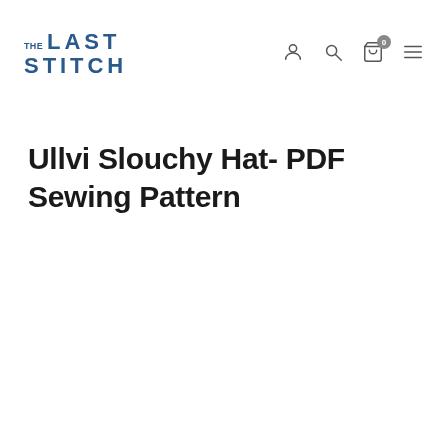THE LAST STITCH
Ullvi Slouchy Hat- PDF Sewing Pattern